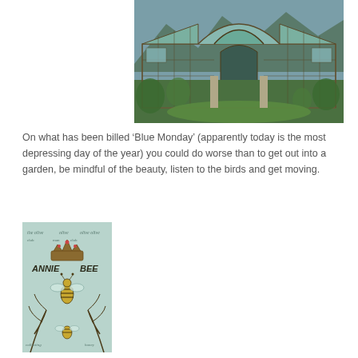[Figure (photo): An abandoned Victorian greenhouse with iron and glass construction, overgrown with ivy and grass, arched entrance in center, mountains visible in background]
On what has been billed ‘Blue Monday’ (apparently today is the most depressing day of the year) you could do worse than to get out into a garden, be mindful of the beauty, listen to the birds and get moving.
[Figure (illustration): Annie Bee vintage label illustration with a crown, bee, and botanical foliage in teal and brown tones with text ANNIE BEE]